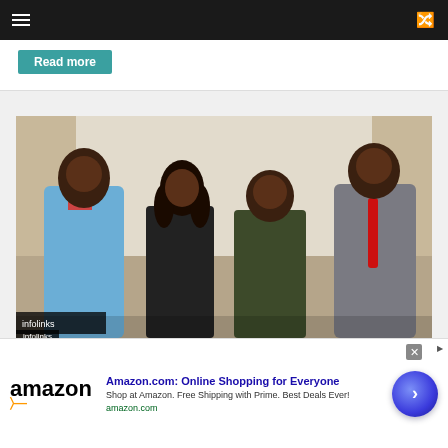Navigation bar with hamburger menu and shuffle icon
Read more
[Figure (photo): Four people standing together posing for a photo indoors. From left to right: a tall man in a light blue blazer with a dark bow tie; a woman in a dark outfit with wavy hair; a shorter man in a dark olive/green traditional African attire; and a tall man in a grey suit with a red tie and glasses. Background shows a white projection screen.]
infolinks
Amazon.com: Online Shopping for Everyone
Shop at Amazon. Free Shipping with Prime. Best Deals Ever!
amazon.com